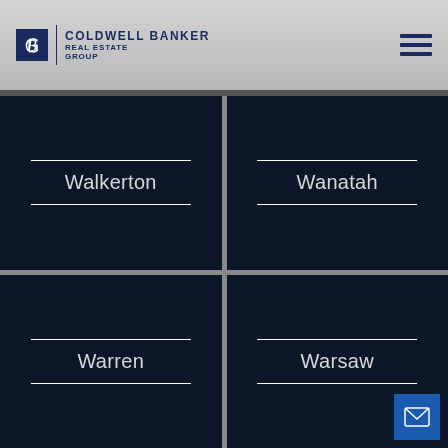Coldwell Banker Real Estate Group
Walkerton
Wanatah
Warren
Warsaw